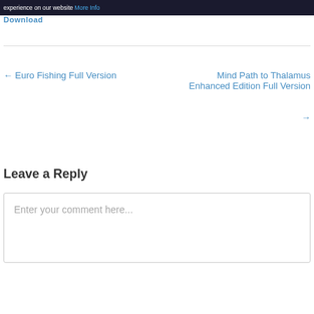experience on our website More Info
Download
← Euro Fishing Full Version
Mind Path to Thalamus Enhanced Edition Full Version →
Leave a Reply
Enter your comment here...